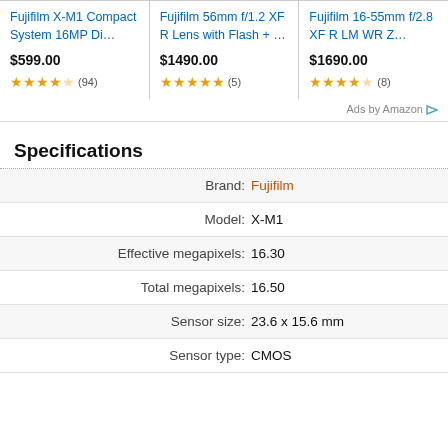[Figure (screenshot): Ad product listings for Fujifilm cameras and lenses on Amazon: Fujifilm X-M1 Compact System 16MP Di... $599.00, 3.5 stars (94 reviews); Fujifilm 56mm f/1.2 XF R Lens with Flash + ... $1490.00, 5 stars (5 reviews); Fujifilm 16-55mm f/2.8 XF R LM WR Z... $1690.00, 3.5 stars (8 reviews)]
Ads by Amazon
Specifications
| Label | Value |
| --- | --- |
| Brand: | Fujifilm |
| Model: | X-M1 |
| Effective megapixels: | 16.30 |
| Total megapixels: | 16.50 |
| Sensor size: | 23.6 x 15.6 mm |
| Sensor type: | CMOS |